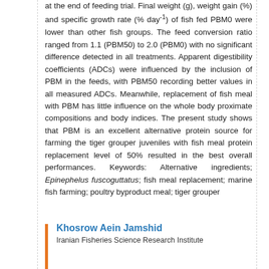at the end of feeding trial. Final weight (g), weight gain (%) and specific growth rate (% day-1) of fish fed PBM0 were lower than other fish groups. The feed conversion ratio ranged from 1.1 (PBM50) to 2.0 (PBM0) with no significant difference detected in all treatments. Apparent digestibility coefficients (ADCs) were influenced by the inclusion of PBM in the feeds, with PBM50 recording better values in all measured ADCs. Meanwhile, replacement of fish meal with PBM has little influence on the whole body proximate compositions and body indices. The present study shows that PBM is an excellent alternative protein source for farming the tiger grouper juveniles with fish meal protein replacement level of 50% resulted in the best overall performances. Keywords: Alternative ingredients; Epinephelus fuscoguttatus; fish meal replacement; marine fish farming; poultry byproduct meal; tiger grouper
Khosrow Aein Jamshid
Iranian Fisheries Science Research Institute